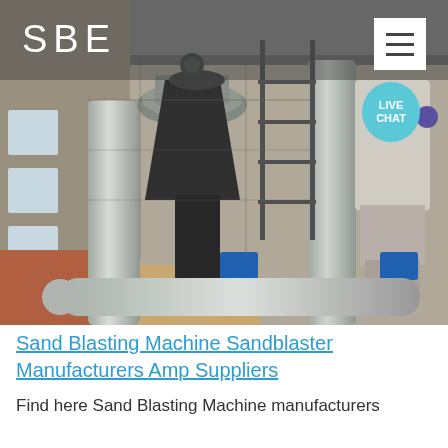SBE
[Figure (photo): Industrial factory interior showing sand blasting equipment — large grey cylindrical pipes, dark conical tanks, metal scaffolding/staircases, and blue motor units on the floor. Viewed from slightly above inside a large industrial building with windows on the left wall.]
Sand Blasting Machine Sandblaster Manufacturers Amp Suppliers
Find here Sand Blasting Machine manufacturers